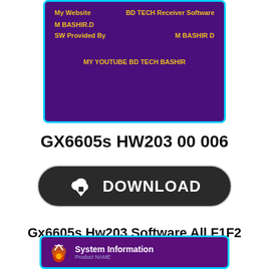[Figure (screenshot): Purple UI screen showing website info: My Website - BD TECH Receiver Software, M BASHIR.D, SW Provided By - M BASHIR D, MY YOUTUBE BD TECH BASHIR]
GX6605s HW203 00 006
[Figure (screenshot): Dark rounded download button with cloud download icon and text DOWNLOAD]
Gx6605s Hw203 Software All F1F2 Receivers Software
[Figure (screenshot): Purple UI screen showing System Information header with satellite dish icon and partially visible Product NAME label]